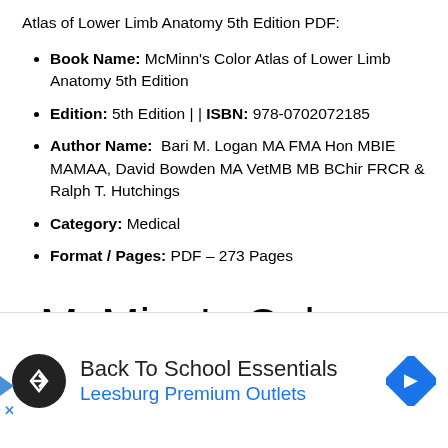Atlas of Lower Limb Anatomy 5th Edition PDF:
Book Name: McMinn's Color Atlas of Lower Limb Anatomy 5th Edition
Edition: 5th Edition | | ISBN: 978-0702072185
Author Name: Bari M. Logan MA FMA Hon MBIE MAMAA, David Bowden MA VetMB MB BChir FRCR & Ralph T. Hutchings
Category: Medical
Format / Pages: PDF – 273 Pages
McMinn's Color Atlas of Lower Limb Anatomy 5th Edition PDF